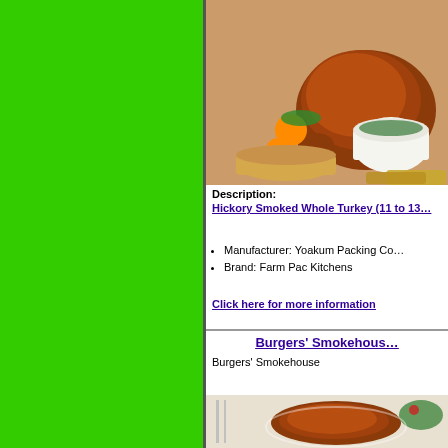[Figure (photo): Green sidebar panel]
[Figure (photo): Hickory smoked whole turkey with side dishes on a festive table]
Description:
Hickory Smoked Whole Turkey (11 to 13…
Manufacturer: Yoakum Packing Co…
Brand: Farm Pac Kitchens
Click here for more information
Burgers' Smokehouse
Burgers' Smokehouse
[Figure (photo): Burgers Smokehouse smoked turkey on a dining table setting]